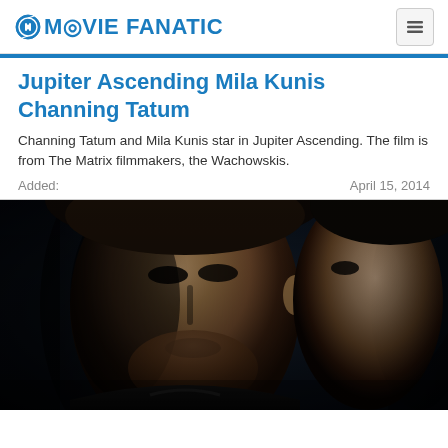MOVIE FANATIC
Jupiter Ascending Mila Kunis Channing Tatum
Channing Tatum and Mila Kunis star in Jupiter Ascending. The film is from The Matrix filmmakers, the Wachowskis.
Added:    April 15, 2014
[Figure (photo): Close-up photo of Channing Tatum and Mila Kunis from Jupiter Ascending, dark cinematic lighting]